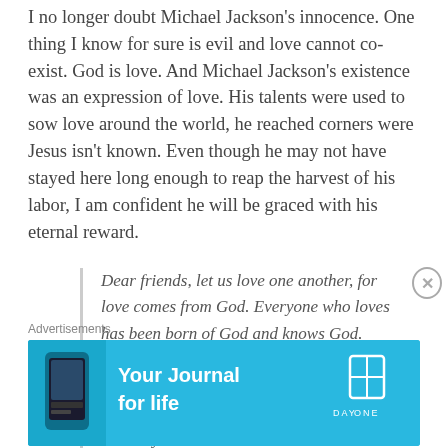I no longer doubt Michael Jackson's innocence. One thing I know for sure is evil and love cannot co-exist. God is love. And Michael Jackson's existence was an expression of love. His talents were used to sow love around the world, he reached corners were Jesus isn't known. Even though he may not have stayed here long enough to reap the harvest of his labor, I am confident he will be graced with his eternal reward.
Dear friends, let us love one another, for love comes from God. Everyone who loves has been born of God and knows God. Whoever does not love does not know God, because God is love. This is how God showed his love among us: He sent his one and only Son into
Advertisements
[Figure (infographic): Advertisement banner for 'Your Journal for life' by Day One app, with cyan/blue background, phone graphic on left, bold white text in center, and Day One logo on right.]